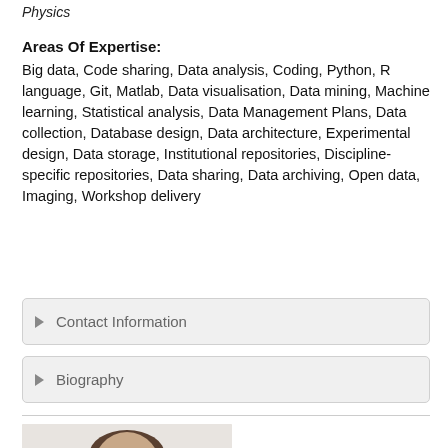Physics
Areas Of Expertise:
Big data, Code sharing, Data analysis, Coding, Python, R language, Git, Matlab, Data visualisation, Data mining, Machine learning, Statistical analysis, Data Management Plans, Data collection, Database design, Data architecture, Experimental design, Data storage, Institutional repositories, Discipline-specific repositories, Data sharing, Data archiving, Open data, Imaging, Workshop delivery
Contact Information
Biography
[Figure (photo): Portrait photo of a person with dark hair against a light background]